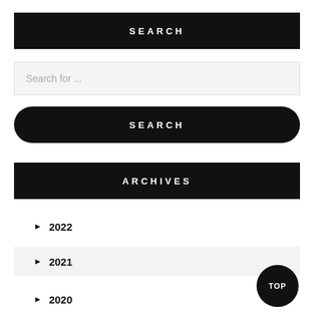SEARCH
Search for ...
SEARCH
ARCHIVES
► 2022
► 2021
► 2020
TOP